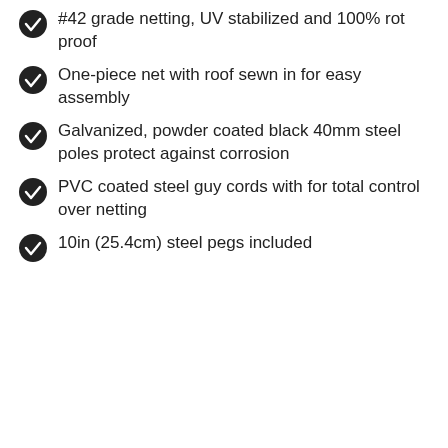#42 grade netting, UV stabilized and 100% rot proof
One-piece net with roof sewn in for easy assembly
Galvanized, powder coated black 40mm steel poles protect against corrosion
PVC coated steel guy cords with for total control over netting
10in (25.4cm) steel pegs included
$100 Guarantee
Our Story
Why Us?